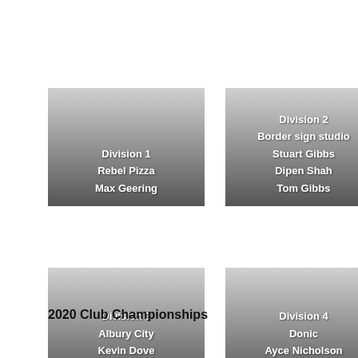[Figure (other): Division 1 card with gradient background. Text: Division 1, Rebel Pizza, Max Geering]
[Figure (other): Division 2 card with gradient background. Text: Division 2, Border sign studio, Stuart Gibbs, Dipen Shah, Tom Gibbs]
[Figure (other): Division 3 card with gradient background. Text: Division 3, Albury City, Kevin Dove, Pip Cain]
[Figure (other): Division 4 card with gradient background. Text: Division 4, Donic, Ayce Nicholson, Jacob Kavanagh]
2020 Club Championships